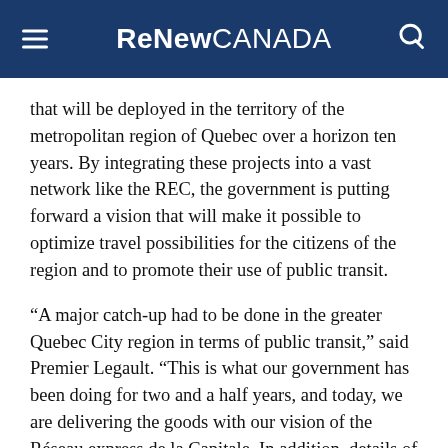ReNew CANADA
that will be deployed in the territory of the metropolitan region of Quebec over a horizon ten years. By integrating these projects into a vast network like the REC, the government is putting forward a vision that will make it possible to optimize travel possibilities for the citizens of the region and to promote their use of public transit.
“A major catch-up had to be done in the greater Quebec City region in terms of public transit,” said Premier Legault. “This is what our government has been doing for two and a half years, and today, we are delivering the goods with our vision of the Réseau express de la Capitale. In addition, details of the Quebec-Lévis tunnel are confirmed today, a project that will include a major electrified public transport component in addition to finally making it possible to